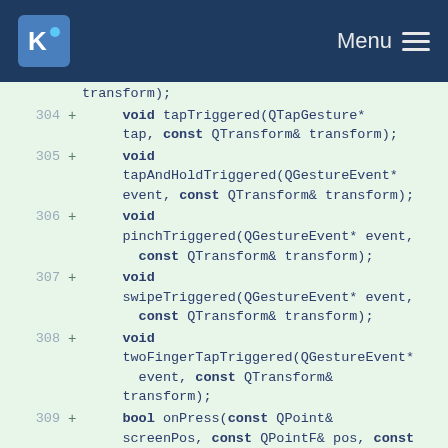KDE Menu
transform);
304 + void tapTriggered(QTapGesture* tap, const QTransform& transform);
305 + void tapAndHoldTriggered(QGestureEvent* event, const QTransform& transform);
306 + void pinchTriggered(QGestureEvent* event, const QTransform& transform);
307 + void swipeTriggered(QGestureEvent* event, const QTransform& transform);
308 + void twoFingerTapTriggered(QGestureEvent* event, const QTransform& transform);
309 + bool onPress(const QPoint& screenPos, const QPointF& pos, const Qt::KeyboardModifiers modifiers, const Qt::MouseButtons buttons);